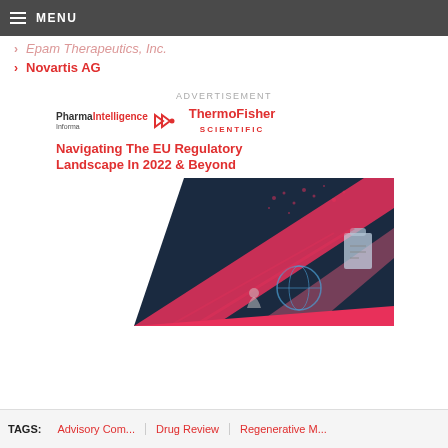MENU
Epam Therapeutics, Inc.
Novartis AG
ADVERTISEMENT
[Figure (infographic): Advertisement banner for 'Navigating The EU Regulatory Landscape In 2022 & Beyond' featuring Pharma Intelligence Informa and Thermo Fisher Scientific logos, with a technology-themed image background.]
TAGS: Advisory Com... | Drug Review | Regenerative M...